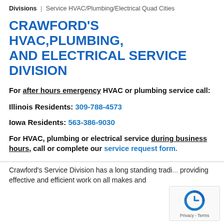Divisions | Service HVAC/Plumbing/Electrical Quad Cities
CRAWFORD'S HVAC,PLUMBING, AND ELECTRICAL SERVICE DIVISION
For after hours emergency HVAC or plumbing service call:
Illinois Residents: 309-788-4573
Iowa Residents: 563-386-9030
For HVAC, plumbing or electrical service during business hours, call or complete our service request form.
Crawford's Service Division has a long standing tradi... providing effective and efficient work on all makes and